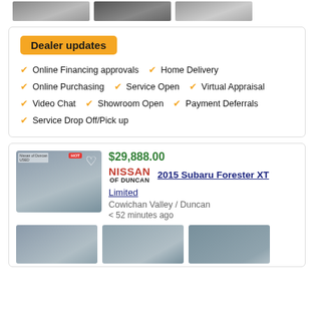[Figure (photo): Three small thumbnail photos of cars at top of page]
Dealer updates
Online Financing approvals
Home Delivery
Online Purchasing
Service Open
Virtual Appraisal
Video Chat
Showroom Open
Payment Deferrals
Service Drop Off/Pick up
$29,888.00
NISSAN OF DUNCAN
2015 Subaru Forester XT
Limited
Cowichan Valley / Duncan
< 52 minutes ago
[Figure (photo): Main listing photo of silver Subaru Forester XT]
[Figure (photo): Three thumbnail photos of silver Subaru Forester XT from different angles]